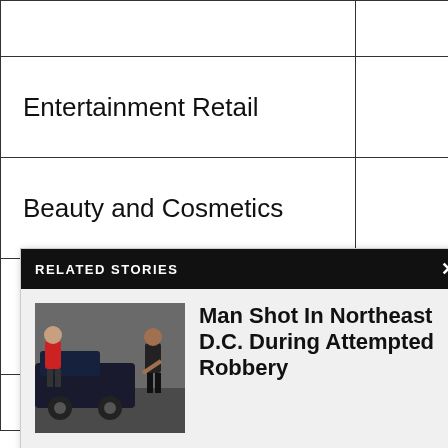| Category |  | Count |
| --- | --- | --- |
|  |  |  |
| Entertainment Retail |  | 2,333 |
| Beauty and Cosmetics |  | 1,553 |
|  |  | 1,237 |
| Apparel |  | 1,2__ |
[Figure (screenshot): Related Stories popup overlay showing 'Man Shot In Northeast D.C. During Attempted Robbery' with a thumbnail photo of two figures near a car, with a black header bar saying 'RELATED STORIES' and an X close button.]
...
GO TO TOP